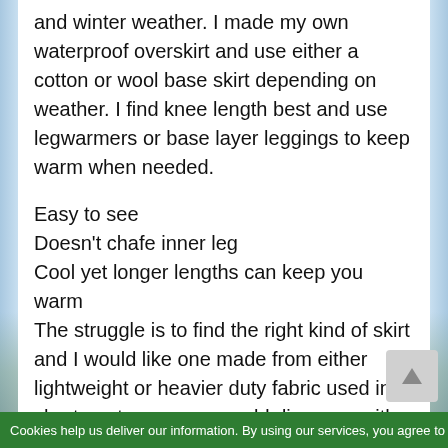and winter weather. I made my own waterproof overskirt and use either a cotton or wool base skirt depending on weather. I find knee length best and use legwarmers or base layer leggings to keep warm when needed.
Easy to see
Doesn't chafe inner leg
Cool yet longer lengths can keep you warm
The struggle is to find the right kind of skirt and I would like one made from either lightweight or heavier duty fabric used in shorts or trousers so could dispense with overskirt for all but very
Cookies help us deliver our information. By using our services, you agree to